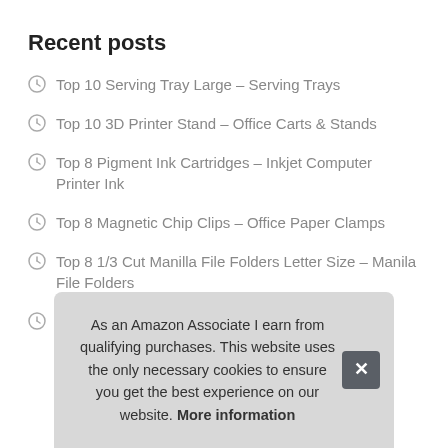Recent posts
Top 10 Serving Tray Large – Serving Trays
Top 10 3D Printer Stand – Office Carts & Stands
Top 8 Pigment Ink Cartridges – Inkjet Computer Printer Ink
Top 8 Magnetic Chip Clips – Office Paper Clamps
Top 8 1/3 Cut Manilla File Folders Letter Size – Manila File Folders
Top 9 3-ring Binder with Zipper – O-ring, 3 Inch – Portfolio & Case
As an Amazon Associate I earn from qualifying purchases. This website uses the only necessary cookies to ensure you get the best experience on our website. More information